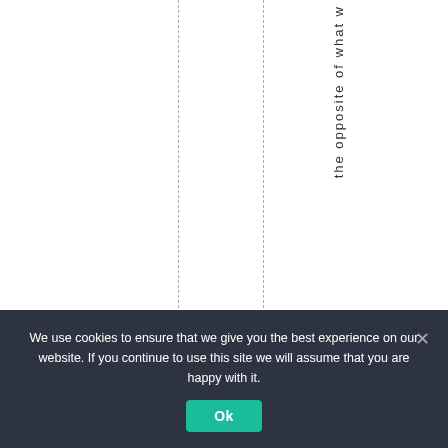the opposite of what w
We use cookies to ensure that we give you the best experience on our website. If you continue to use this site we will assume that you are happy with it.